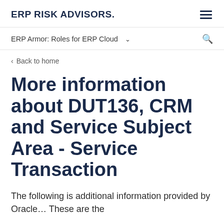ERP RISK ADVISORS.
ERP Armor: Roles for ERP Cloud
Back to home
More information about DUT136, CRM and Service Subject Area - Service Transaction
The following is additional information provided by Oracle… These are the